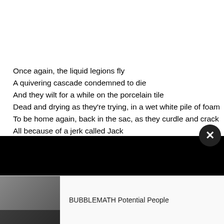Once again, the liquid legions fly
A quivering cascade condemned to die
And they wilt for a while on the porcelain tile
Dead and drying as they’re trying, in a wet white pile of foam
To be home again, back in the sac, as they curdle and crack
All because of a jerk called Jack
Floating in the Xs and the Ys
Spasm after spasm of perfect protoplasm
As half a future genius slowly dies
[Figure (screenshot): YouTube video player overlay with black bar and thumbnail for BUBBLEMATH Potential People]